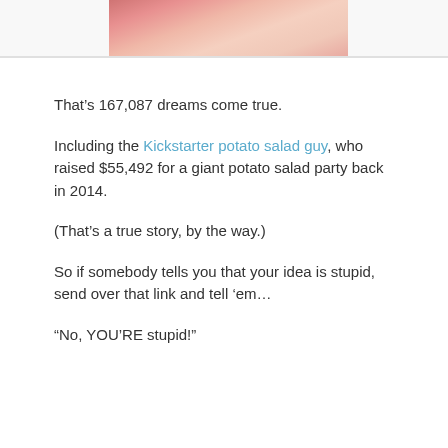[Figure (photo): Partial photo showing a hand or food item with pink/red and white colors, cropped at the top of the page]
That’s 167,087 dreams come true.
Including the Kickstarter potato salad guy, who raised $55,492 for a giant potato salad party back in 2014.
(That’s a true story, by the way.)
So if somebody tells you that your idea is stupid, send over that link and tell ‘em…
“No, YOU’RE stupid!”